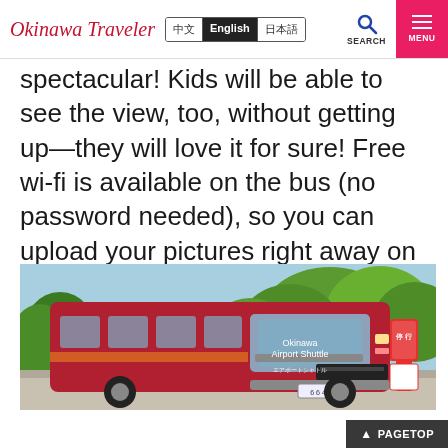Okinawa Traveler | 中文 | English | 日本語 | SEARCH | MENU
spectacular! Kids will be able to see the view, too, without getting up—they will love it for sure! Free wi-fi is available on the bus (no password needed), so you can upload your pictures right away on social media.
[Figure (photo): A red Okinawa Airport Shuttle bus parked or driving on a road, with green trees and blue sky in the background. A red bus stop sign is visible on the right side.]
▲ PAGETOP